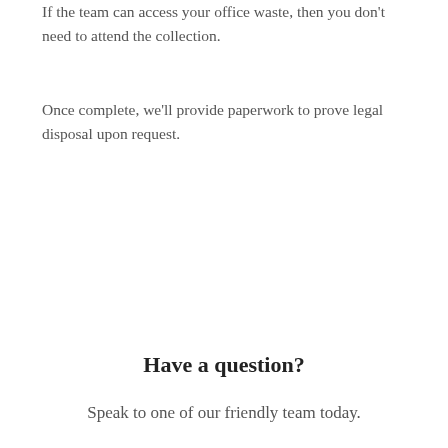If the team can access your office waste, then you don't need to attend the collection.
Once complete, we'll provide paperwork to prove legal disposal upon request.
Have a question?
Speak to one of our friendly team today.